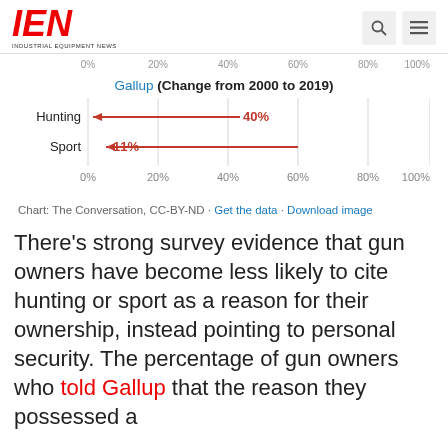IEN INDUSTRIAL EQUIPMENT NEWS
[Figure (bar-chart): Horizontal bar chart showing decline from Gallup survey. Hunting: 40% decline, Sport: 11% decline, shown as leftward arrows.]
Chart: The Conversation, CC-BY-ND · Get the data · Download image
There’s strong survey evidence that gun owners have become less likely to cite hunting or sport as a reason for their ownership, instead pointing to personal security. The percentage of gun owners who told Gallup that the reason they possessed a